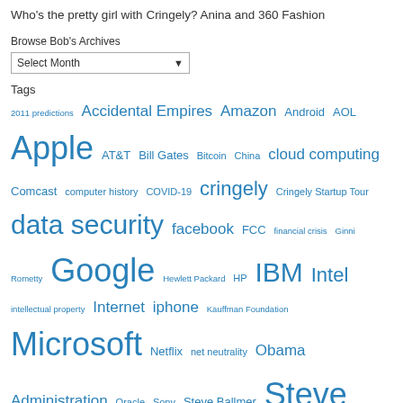Who's the pretty girl with Cringely? Anina and 360 Fashion
Browse Bob's Archives
Select Month
Tags
2011 predictions Accidental Empires Amazon Android AOL Apple AT&T Bill Gates Bitcoin China cloud computing Comcast computer history COVID-19 cringely Cringely Startup Tour data security facebook FCC financial crisis Ginni Rometty Google Hewlett Packard HP IBM Intel intellectual property Internet iphone Kauffman Foundation Microsoft Netflix net neutrality Obama Administration Oracle Sony Steve Ballmer Steve Jobs Tim Cook Trump venture capital Verizon Windows 8 Yahoo YouTube
[Figure (other): PayPal Donate button with payment card icons (Visa, Mastercard, Maestro, Amex, Discover, and another card)]